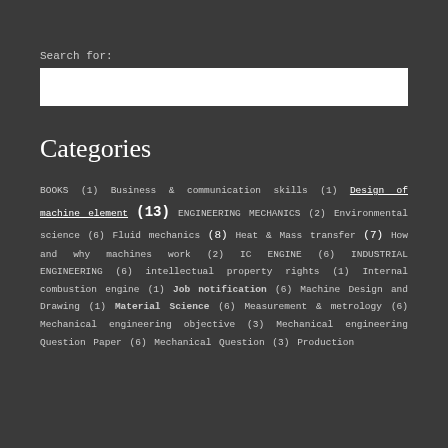Search for:
[search input box]
Categories
BOOKS (1) Business & communication skills (1) Design of machine element (13) ENGINEERING MECHANICS (2) Environmental science (6) Fluid mechanics (8) Heat & Mass transfer (7) How and why machines work (2) IC ENGINE (6) INDUSTRIAL ENGINEERING (6) intellectual property rights (1) Internal combustion engine (1) Job notification (6) Machine Design and Drawing (1) Material Science (6) Measurement & metrology (6) Mechanical engineering objective (3) Mechanical engineering Question Paper (6) Mechanical Question (3) Production